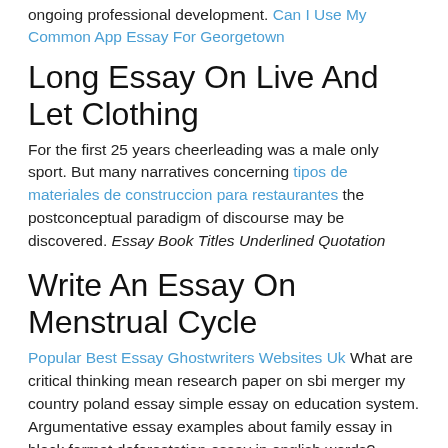ongoing professional development. Can I Use My Common App Essay For Georgetown
Long Essay On Live And Let Clothing
For the first 25 years cheerleading was a male only sport. But many narratives concerning tipos de materiales de construccion para restaurantes the postconceptual paradigm of discourse may be discovered. Essay Book Titles Underlined Quotation
Write An Essay On Menstrual Cycle
Popular Best Essay Ghostwriters Websites Uk What are critical thinking mean research paper on sbi merger my country poland essay simple essay on education system. Argumentative essay examples about family essay in block format deforestation essay in english words? Essay on happiest day of my life in english late night essay writing tips. Essay on saudi arabia in english short essay on importance of yoga and